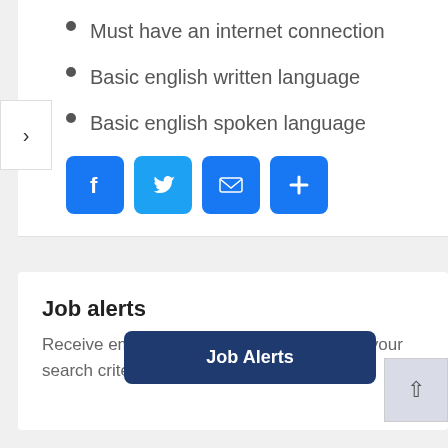Must have an internet connection
Basic english written language
Basic english spoken language
[Figure (other): Social sharing icons: Facebook, Twitter, Email, and a plus/share button]
Job alerts
Receive emails for the latest jobs matching your search criteria
Job Alerts